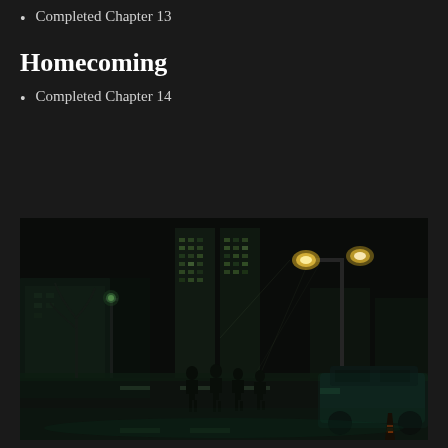Completed Chapter 13
Homecoming
Completed Chapter 14
[Figure (screenshot): Night scene from a video game showing silhouettes of several characters standing in the middle of a dark urban street. A large illuminated skyscraper stands in the background. Street lamps cast teal and yellow-green light. A police car is parked to the right with a traffic cone nearby.]